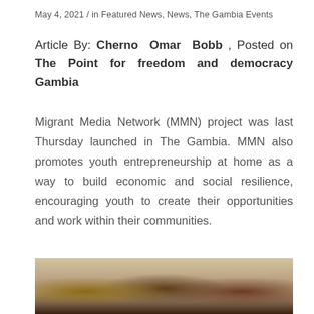May 4, 2021 / in Featured News, News, The Gambia Events
Article By: Cherno Omar Bobb , Posted on The Point for freedom and democracy Gambia
Migrant Media Network (MMN) project was last Thursday launched in The Gambia. MMN also promotes youth entrepreneurship at home as a way to build economic and social resilience, encouraging youth to create their opportunities and work within their communities.
[Figure (photo): Group photo of people wearing face masks indoors, likely participants of the MMN project launch in The Gambia]